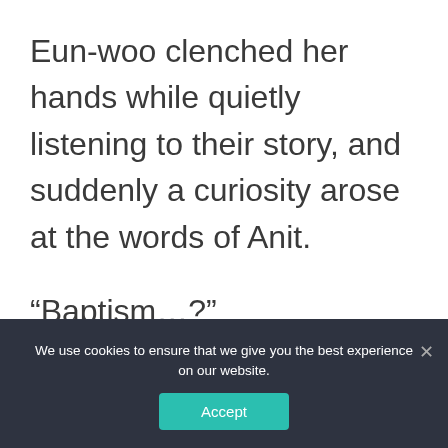Eun-woo clenched her hands while quietly listening to their story, and suddenly a curiosity arose at the words of Anit.
“Baptism…?”
“Ah… Miss. Literally giving you a blessing. On the day of the coronation of the
We use cookies to ensure that we give you the best experience on our website.